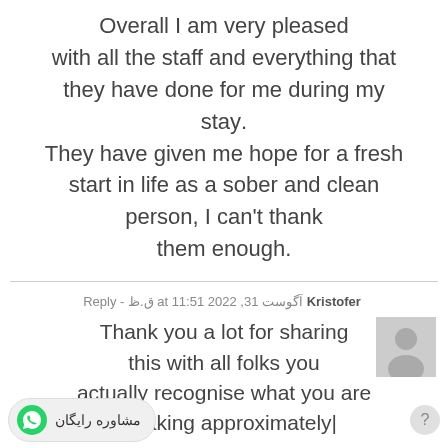Overall I am very pleased with all the staff and everything that they have done for me during my stay. They have given me hope for a fresh start in life as a sober and clean person, I can't thank them enough.
Kristofor آگوست 31, 2022 at 11:51 ق.ظ - Reply
Thank you a lot for sharing this with all folks you actually recognise what you are speaking approximately